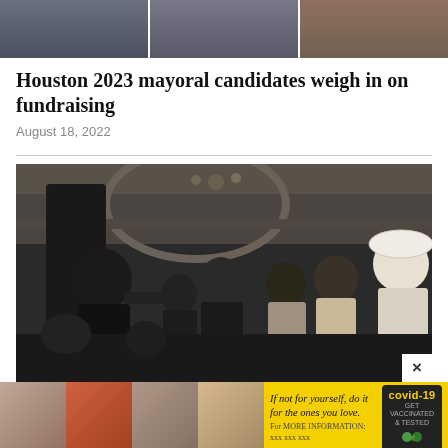[Figure (photo): Top strip showing partial photos of three Houston mayoral candidates side by side]
Houston 2023 mayoral candidates weigh in on fundraising
August 18, 2022
[Figure (photo): Black and white historical photograph showing a formal gathering in an ornate hall, with a man in a suit shaking hands with Martin Luther King Jr. among a large group of people]
[Figure (photo): Advertisement bar at bottom: four color photos of people on the left side, and a yellow COVID-19 vaccination awareness ad on the right reading 'If not for yourself, do it for the ones you love.' with a covid-19 branding badge]